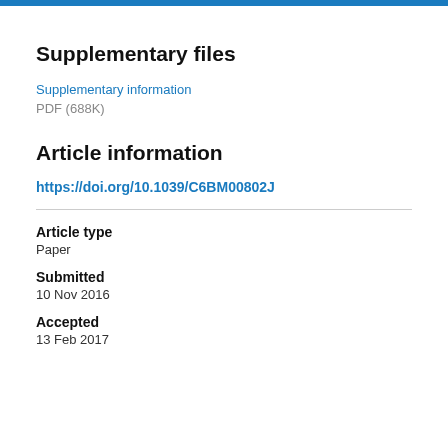Supplementary files
Supplementary information
PDF (688K)
Article information
https://doi.org/10.1039/C6BM00802J
Article type
Paper
Submitted
10 Nov 2016
Accepted
13 Feb 2017